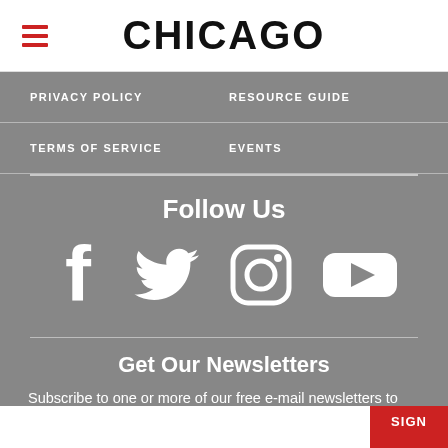CHICAGO
PRIVACY POLICY
RESOURCE GUIDE
TERMS OF SERVICE
EVENTS
Follow Us
[Figure (illustration): Social media icons: Facebook, Twitter, Instagram, YouTube]
Get Our Newsletters
Subscribe to one or more of our free e-mail newsletters to get instant updates on local news, events, and opportunities in Chicago.
SIGN